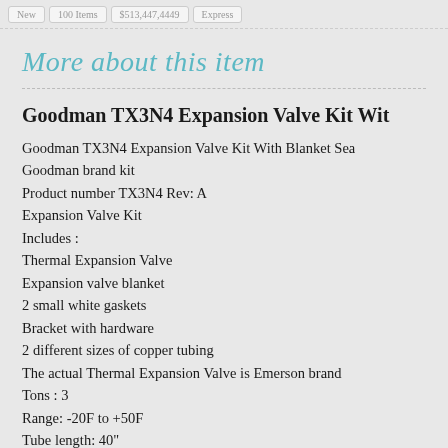New | 100 Items | $513,447,4449 | Express
More about this item
Goodman TX3N4 Expansion Valve Kit Wit
Goodman TX3N4 Expansion Valve Kit With Blanket Sea
Goodman brand kit
Product number TX3N4 Rev: A
Expansion Valve Kit
Includes :
Thermal Expansion Valve
Expansion valve blanket
2 small white gaskets
Bracket with hardware
2 different sizes of copper tubing
The actual Thermal Expansion Valve is Emerson brand
Tons : 3
Range: -20F to +50F
Tube length: 40"